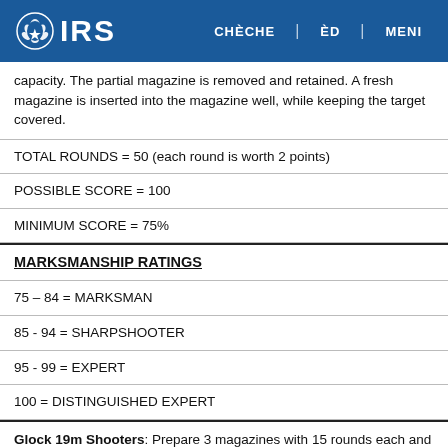IRS | CHÈCHE | ÈD | MENI
capacity. The partial magazine is removed and retained. A fresh magazine is inserted into the magazine well, while keeping the target covered.
TOTAL ROUNDS = 50 (each round is worth 2 points)
POSSIBLE SCORE = 100
MINIMUM SCORE = 75%
MARKSMANSHIP RATINGS
75 – 84 = MARKSMAN
85 - 94 = SHARPSHOOTER
95 - 99 = EXPERT
100 = DISTINGUISHED EXPERT
Glock 19m Shooters: Prepare 3 magazines with 15 rounds each and have 5 extra rounds available in your pocket.
Glock 26 Shooters: Prepare three magazines to capacity (10 rounds). Have an additional 20 rounds available in your pocket.